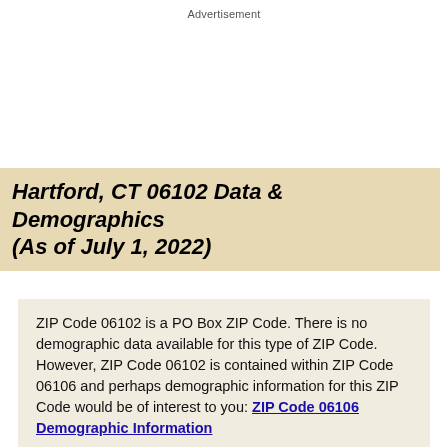Advertisement
Hartford, CT 06102 Data & Demographics (As of July 1, 2022)
ZIP Code 06102 is a PO Box ZIP Code. There is no demographic data available for this type of ZIP Code. However, ZIP Code 06102 is contained within ZIP Code 06106 and perhaps demographic information for this ZIP Code would be of interest to you: ZIP Code 06106 Demographic Information